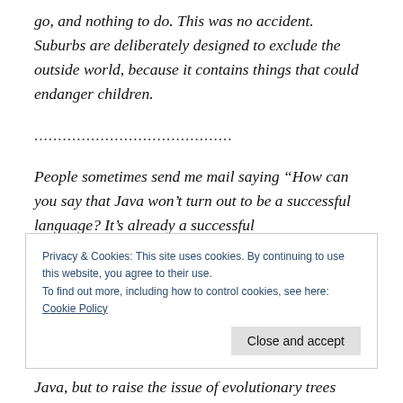go, and nothing to do. This was no accident. Suburbs are deliberately designed to exclude the outside world, because it contains things that could endanger children.
..........................................
People sometimes send me mail saying “How can you say that Java won’t turn out to be a successful language? It’s already a successful
Privacy & Cookies: This site uses cookies. By continuing to use this website, you agree to their use.
To find out more, including how to control cookies, see here:
Cookie Policy
Java, but to raise the issue of evolutionary trees